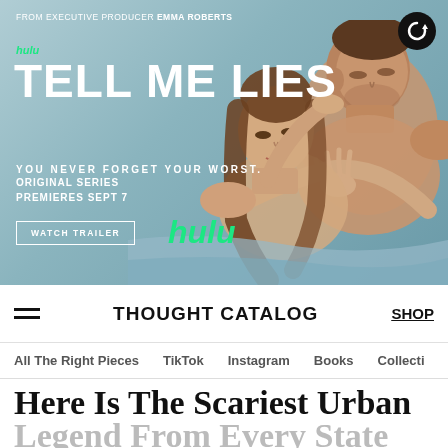[Figure (photo): Hulu 'Tell Me Lies' advertisement banner featuring two people lying in bed, with text 'FROM EXECUTIVE PRODUCER EMMA ROBERTS', hulu logo, 'TELL ME LIES', 'YOU NEVER FORGET YOUR WORST.', 'ORIGINAL SERIES PREMIERES SEPT 7', 'WATCH TRAILER' button, and hulu logo. Replay button in top right corner.]
THOUGHT CATALOG
All The Right Pieces
TikTok
Instagram
Books
Collecti
Here Is The Scariest Urban Legend From Every State